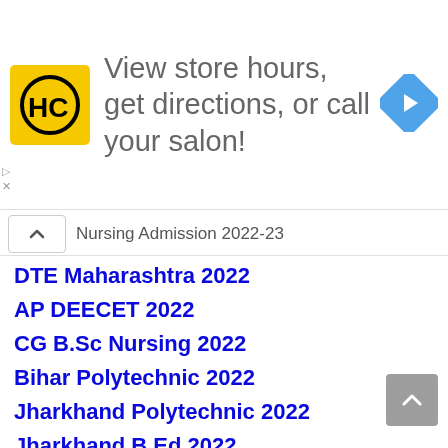[Figure (logo): Advertisement banner: HC salon logo (yellow square with HC letters) and text 'View store hours, get directions, or call your salon!' with a blue navigation arrow icon on the right]
Nursing Admission 2022-23
DTE Maharashtra 2022
AP DEECET 2022
CG B.Sc Nursing 2022
Bihar Polytechnic 2022
Jharkhand Polytechnic 2022
Jharkhand B.Ed 2022
HP D.El.Ed CET 2022
Tripura DEEET 2022
Jamia School Admission 2022-23
AMU School Admission 2022-23
West Bengal ITI 2022 Admission Form